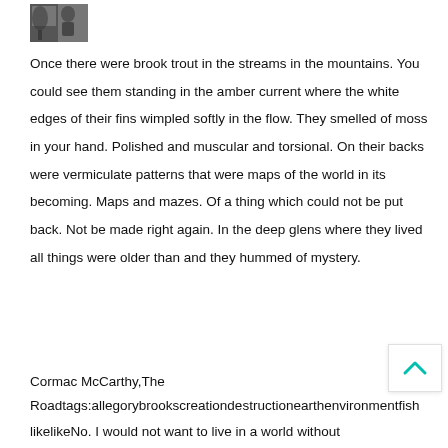[Figure (photo): Small black and white photo of a person or scene, approximately 58x38px, in top left corner]
Once there were brook trout in the streams in the mountains. You could see them standing in the amber current where the white edges of their fins wimpled softly in the flow. They smelled of moss in your hand. Polished and muscular and torsional. On their backs were vermiculate patterns that were maps of the world in its becoming. Maps and mazes. Of a thing which could not be put back. Not be made right again. In the deep glens where they lived all things were older than and they hummed of mystery.
Cormac McCarthy,The
Roadtags:allegorybrookscreationdestructionearthenvironmentfish
likelikeNo. I would not want to live in a world without